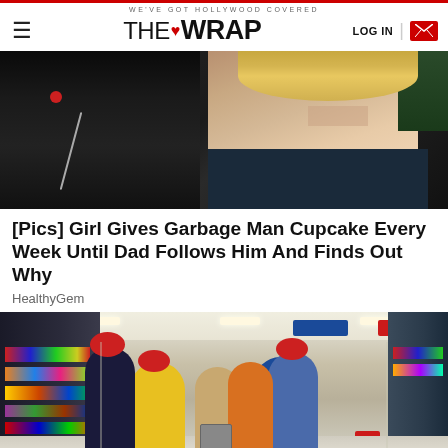WE'VE GOT HOLLYWOOD COVERED — THE WRAP — LOG IN
[Figure (photo): Close-up photo of a young blonde child with an emotional/crying expression, next to a dark-skinned person with headphones and a chain necklace]
[Pics] Girl Gives Garbage Man Cupcake Every Week Until Dad Follows Him And Finds Out Why
HealthyGem
[Figure (photo): Interior of a Walmart store with shoppers in the aisles, including people in colorful coats (yellow, red, blue), shopping carts, store shelves and blue store signage]